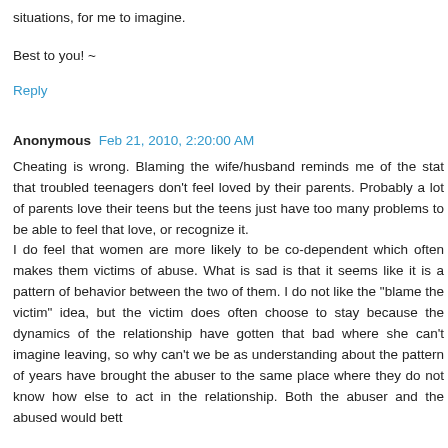situations, for me to imagine.
Best to you! ~
Reply
Anonymous Feb 21, 2010, 2:20:00 AM
Cheating is wrong. Blaming the wife/husband reminds me of the stat that troubled teenagers don't feel loved by their parents. Probably a lot of parents love their teens but the teens just have too many problems to be able to feel that love, or recognize it.
I do feel that women are more likely to be co-dependent which often makes them victims of abuse. What is sad is that it seems like it is a pattern of behavior between the two of them. I do not like the "blame the victim" idea, but the victim does often choose to stay because the dynamics of the relationship have gotten that bad where she can't imagine leaving, so why can't we be as understanding about the pattern of years have brought the abuser to the same place where they do not know how else to act in the relationship. Both the abuser and the abused would bett...